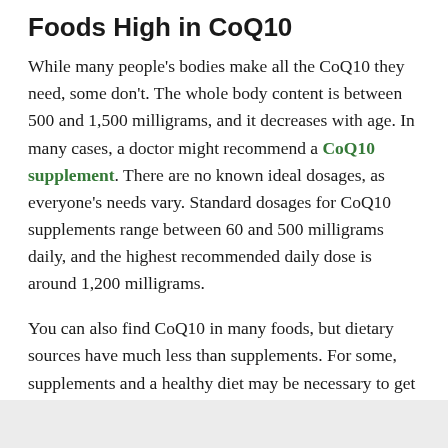Foods High in CoQ10
While many people's bodies make all the CoQ10 they need, some don't. The whole body content is between 500 and 1,500 milligrams, and it decreases with age. In many cases, a doctor might recommend a CoQ10 supplement. There are no known ideal dosages, as everyone's needs vary. Standard dosages for CoQ10 supplements range between 60 and 500 milligrams daily, and the highest recommended daily dose is around 1,200 milligrams.
You can also find CoQ10 in many foods, but dietary sources have much less than supplements. For some, supplements and a healthy diet may be necessary to get enough in your body. Some foods with CoQ10 include:
ADVERTISEMENT